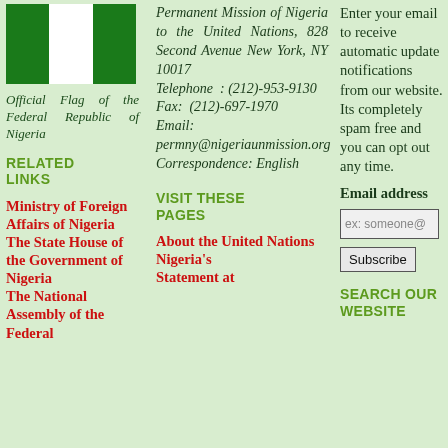[Figure (illustration): Official flag of the Federal Republic of Nigeria — green, white, green vertical stripes]
Official Flag of the Federal Republic of Nigeria
RELATED LINKS
Ministry of Foreign Affairs of Nigeria
The State House of the Government of Nigeria
The National Assembly of the Federal
Permanent Mission of Nigeria to the United Nations, 828 Second Avenue New York, NY 10017 Telephone : (212)-953-9130 Fax: (212)-697-1970 Email: permny@nigeriaunmission.org Correspondence: English
VISIT THESE PAGES
About the United Nations
Nigeria's Statement at
Enter your email to receive automatic update notifications from our website. Its completely spam free and you can opt out any time.
Email address
ex: someone@
Subscribe
SEARCH OUR WEBSITE